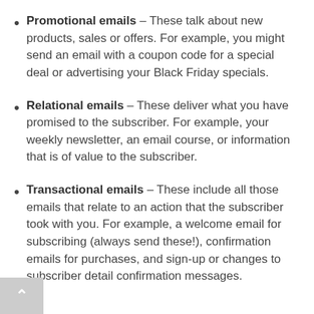Promotional emails – These talk about new products, sales or offers. For example, you might send an email with a coupon code for a special deal or advertising your Black Friday specials.
Relational emails – These deliver what you have promised to the subscriber. For example, your weekly newsletter, an email course, or information that is of value to the subscriber.
Transactional emails – These include all those emails that relate to an action that the subscriber took with you. For example, a welcome email for subscribing (always send these!), confirmation emails for purchases, and sign-up or changes to subscriber detail confirmation messages.